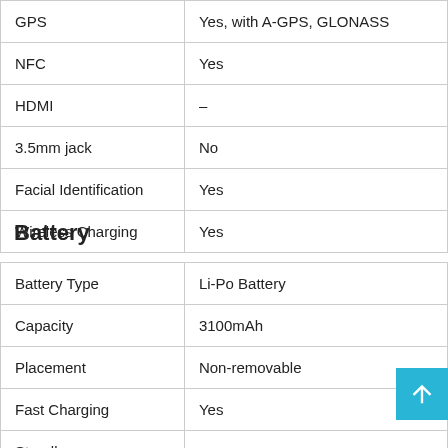| Feature | Value |
| --- | --- |
| GPS | Yes, with A-GPS, GLONASS |
| NFC | Yes |
| HDMI | – |
| 3.5mm jack | No |
| Facial Identification | Yes |
| Wireless Charging | Yes |
Battery
| Feature | Value |
| --- | --- |
| Battery Type | Li-Po Battery |
| Capacity | 3100mAh |
| Placement | Non-removable |
| Fast Charging | Yes |
| Standby | – |
| Talk Time | – |